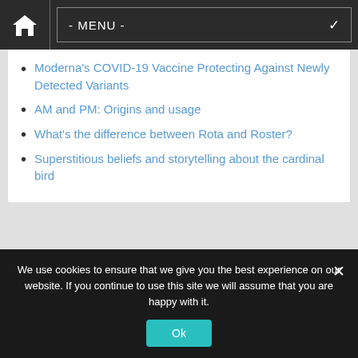- MENU -
Moderna's COVID-19 Vaccine Protecting Against Newly Detected Variants
AM and PM: Origins and usage
What's the difference between Rota and Roster?
Superstitious beliefs and storytelling about the cardinal bird
Important
Contact us
We use cookies to ensure that we give you the best experience on our website. If you continue to use this site we will assume that you are happy with it.